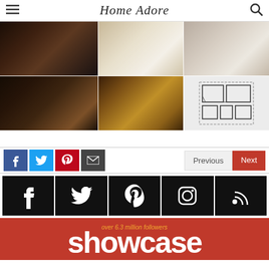Home Adore
[Figure (photo): Grid of 6 interior design photos: dark bedroom, two bathroom views, dark corridor with shelves, gold art bathroom, and floor plan]
[Figure (infographic): Social share buttons: Facebook, Twitter, Pinterest, Email, and Previous/Next navigation buttons]
[Figure (infographic): Large social media icon buttons: Facebook, Twitter, Pinterest, Instagram, RSS feed]
[Figure (infographic): Red showcase banner with text 'over 6.3 million followers' and 'showcase']